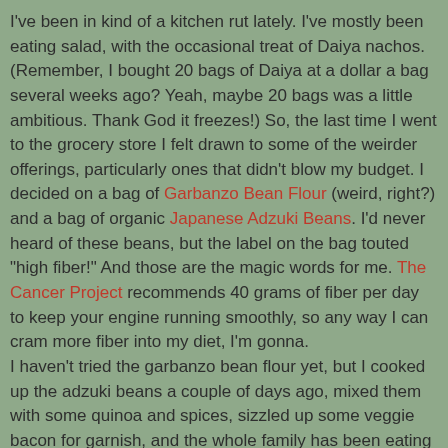I've been in kind of a kitchen rut lately. I've mostly been eating salad, with the occasional treat of Daiya nachos. (Remember, I bought 20 bags of Daiya at a dollar a bag several weeks ago? Yeah, maybe 20 bags was a little ambitious. Thank God it freezes!) So, the last time I went to the grocery store I felt drawn to some of the weirder offerings, particularly ones that didn't blow my budget. I decided on a bag of Garbanzo Bean Flour (weird, right?) and a bag of organic Japanese Adzuki Beans. I'd never heard of these beans, but the label on the bag touted "high fiber!" And those are the magic words for me. The Cancer Project recommends 40 grams of fiber per day to keep your engine running smoothly, so any way I can cram more fiber into my diet, I'm gonna.
I haven't tried the garbanzo bean flour yet, but I cooked up the adzuki beans a couple of days ago, mixed them with some quinoa and spices, sizzled up some veggie bacon for garnish, and the whole family has been eating on this one batch since then! My husband just had a big bowl for lunch. It's the high-protein dish that just keeps on giving. Try it out for yourself!